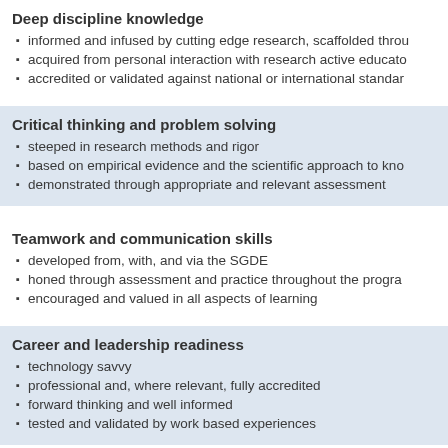Deep discipline knowledge
informed and infused by cutting edge research, scaffolded throu
acquired from personal interaction with research active educato
accredited or validated against national or international standar
Critical thinking and problem solving
steeped in research methods and rigor
based on empirical evidence and the scientific approach to kno
demonstrated through appropriate and relevant assessment
Teamwork and communication skills
developed from, with, and via the SGDE
honed through assessment and practice throughout the progra
encouraged and valued in all aspects of learning
Career and leadership readiness
technology savvy
professional and, where relevant, fully accredited
forward thinking and well informed
tested and validated by work based experiences